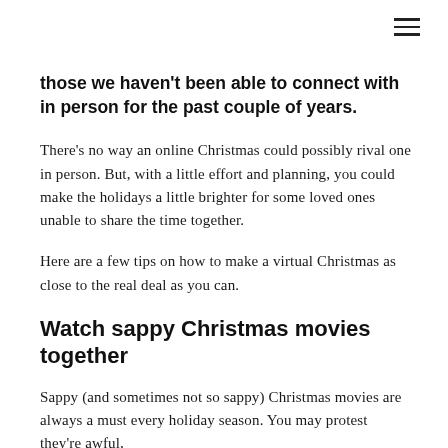≡
those we haven't been able to connect with in person for the past couple of years.
There's no way an online Christmas could possibly rival one in person. But, with a little effort and planning, you could make the holidays a little brighter for some loved ones unable to share the time together.
Here are a few tips on how to make a virtual Christmas as close to the real deal as you can.
Watch sappy Christmas movies together
Sappy (and sometimes not so sappy) Christmas movies are always a must every holiday season. You may protest they're awful,